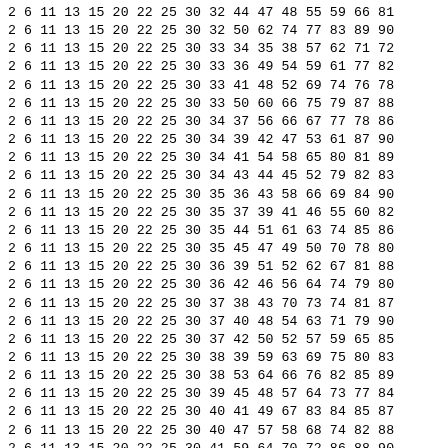2 6 11 13 15 20 22 25 30 32 44 47 48 55 59 66 81
2 6 11 13 15 20 22 25 30 32 50 62 74 77 83 89 90
2 6 11 13 15 20 22 25 30 33 34 35 38 57 62 71 72
2 6 11 13 15 20 22 25 30 33 36 49 54 59 61 77 82
2 6 11 13 15 20 22 25 30 33 41 48 52 69 74 76 78
2 6 11 13 15 20 22 25 30 33 50 60 66 75 79 87 88
2 6 11 13 15 20 22 25 30 34 37 56 66 67 77 78 86
2 6 11 13 15 20 22 25 30 34 39 42 47 53 61 87 90
2 6 11 13 15 20 22 25 30 34 41 54 58 65 80 81 89
2 6 11 13 15 20 22 25 30 34 43 44 45 52 79 82 83
2 6 11 13 15 20 22 25 30 35 36 43 58 66 69 84 90
2 6 11 13 15 20 22 25 30 35 37 39 41 46 55 60 82
2 6 11 13 15 20 22 25 30 35 44 51 61 63 74 85 86
2 6 11 13 15 20 22 25 30 35 45 47 49 50 70 78 80
2 6 11 13 15 20 22 25 30 36 39 51 52 62 67 81 88
2 6 11 13 15 20 22 25 30 36 42 46 56 64 74 79 80
2 6 11 13 15 20 22 25 30 37 38 43 70 73 74 81 87
2 6 11 13 15 20 22 25 30 37 40 48 54 63 71 79 90
2 6 11 13 15 20 22 25 30 37 42 50 52 57 59 65 85
2 6 11 13 15 20 22 25 30 38 39 59 63 69 75 80 83
2 6 11 13 15 20 22 25 30 38 53 64 66 76 82 85 89
2 6 11 13 15 20 22 25 30 39 45 48 57 64 73 77 84
2 6 11 13 15 20 22 25 30 40 41 49 67 83 84 85 87
2 6 11 13 15 20 22 25 30 40 47 57 58 68 74 82 88
2 6 11 13 15 20 22 25 30 41 59 64 70 72 86 88 90
2 6 11 13 15 20 22 25 30 42 43 48 49 51 60 72 89
2 6 11 13 15 20 22 25 30 44 46 65 68 69 72 77 87
2 6 11 13 15 20 22 25 30 45 51 56 58 59 71 76 87
2 6 11 13 15 20 22 25 30 45 53 54 55 67 72 74 75
2 6 11 13 15 20 22 25 30 46 47 52 71 75 84 86 89